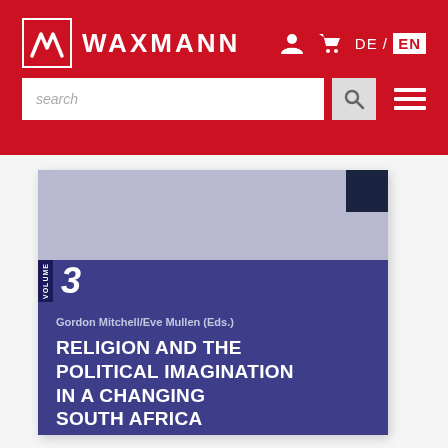WAXMANN — search bar, DE/EN language switcher, navigation icons
[Figure (illustration): Book cover: Volume 3, Religion and Society in Transition series. Gordon Mitchell/Eve Mullen (Eds.). Title: Religion and the Political Imagination in a Changing South Africa. Blue and lavender cover with dark navy accent square.]